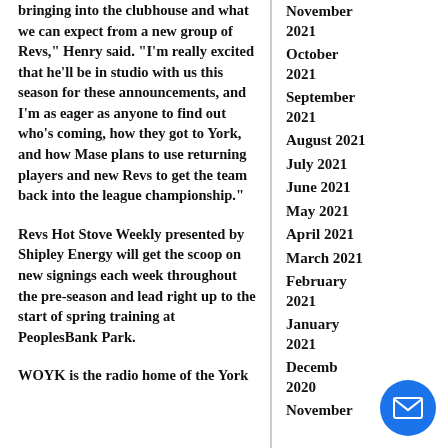bringing into the clubhouse and what we can expect from a new group of Revs," Henry said. "I'm really excited that he'll be in studio with us this season for these announcements, and I'm as eager as anyone to find out who's coming, how they got to York, and how Mase plans to use returning players and new Revs to get the team back into the league championship."
Revs Hot Stove Weekly presented by Shipley Energy will get the scoop on new signings each week throughout the pre-season and lead right up to the start of spring training at PeoplesBank Park.
WOYK is the radio home of the York
November 2021
October 2021
September 2021
August 2021
July 2021
June 2021
May 2021
April 2021
March 2021
February 2021
January 2021
December 2020
November